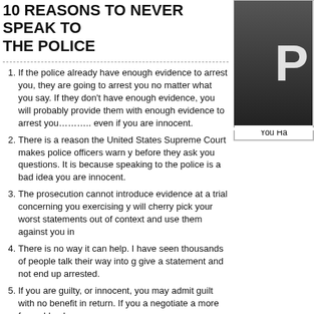10 REASONS TO NEVER SPEAK TO THE POLICE
[Figure (photo): Dark photo of a person, partially visible, with a white letter visible. Caption reads 'You Ha']
You Ha
If the police already have enough evidence to arrest you, they are going to arrest you no matter what you say. If they don't have enough evidence, you will probably provide them with enough evidence to arrest you……….. even if you are innocent.
There is a reason the United States Supreme Court makes police officers warn you before they ask you questions. It is because speaking to the police is a bad idea even if you are innocent.
The prosecution cannot introduce evidence at a trial concerning you exercising your rights, but will cherry pick your worst statements out of context and use them against you in trial.
There is no way it can help. I have seen thousands of people talk their way into greater trouble and give a statement and not end up arrested.
If you are guilty, or innocent, you may admit guilt with no benefit in return. If you are guilty, you can negotiate a more favorable plea.
Even if you are innocent and only tell the truth, you will always give the police something to use and convict you.
Even if you are innocent, only tell the truth and say nothing incriminating, there is still a danger the police officers do not recall your statements with 100% accuracy.
Even if you are innocent, only tell the truth and say nothing incriminating, there is still a danger the police officers do not recall their questions with 100% accuracy.
Even if you are innocent, only tell the truth, say nothing incriminating and you…